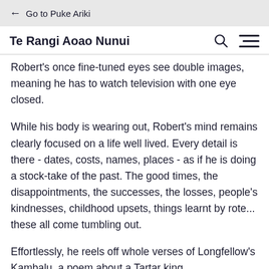← Go to Puke Ariki
Te Rangi Aoao Nunui
Robert's once fine-tuned eyes see double images, meaning he has to watch television with one eye closed.
While his body is wearing out, Robert's mind remains clearly focused on a life well lived. Every detail is there - dates, costs, names, places - as if he is doing a stock-take of the past. The good times, the disappointments, the successes, the losses, people's kindnesses, childhood upsets, things learnt by rote... these all come tumbling out.
Effortlessly, he reels off whole verses of Longfellow's Kambalu, a poem about a Tartar king